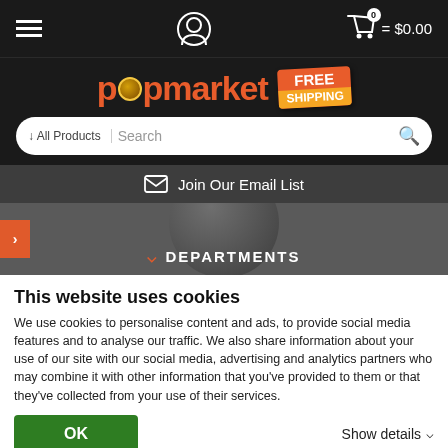[Figure (screenshot): Top navigation bar with hamburger menu, user icon, and cart showing $0.00]
[Figure (logo): Popmarket logo with orange/red branding and a Free Shipping badge]
[Figure (screenshot): Search bar with All Products dropdown and search field]
Join Our Email List
DEPARTMENTS
This website uses cookies
We use cookies to personalise content and ads, to provide social media features and to analyse our traffic. We also share information about your use of our site with our social media, advertising and analytics partners who may combine it with other information that you've provided to them or that they've collected from your use of their services.
OK
Show details